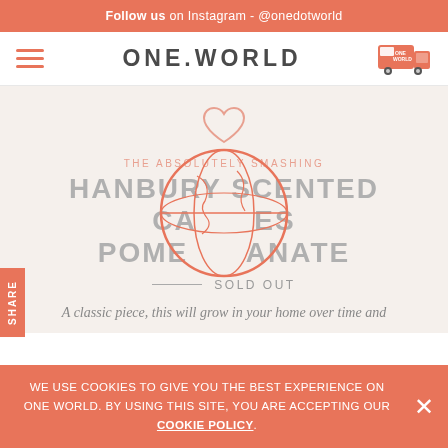Follow us on Instagram - @onedotworld
[Figure (logo): ONE.WORLD logo with hamburger menu and truck icon navigation bar]
[Figure (illustration): Heart icon outline in salmon/pink color]
THE ABSOLUTELY SMASHING
HANBURY SCENTED CANDLES POMEGRANATE
[Figure (illustration): Globe/world circle icon overlapping product title text]
— SOLD OUT
A classic piece, this will grow in your home over time and
WE USE COOKIES TO GIVE YOU THE BEST EXPERIENCE ON ONE WORLD. BY USING THIS SITE, YOU ARE ACCEPTING OUR COOKIE POLICY.